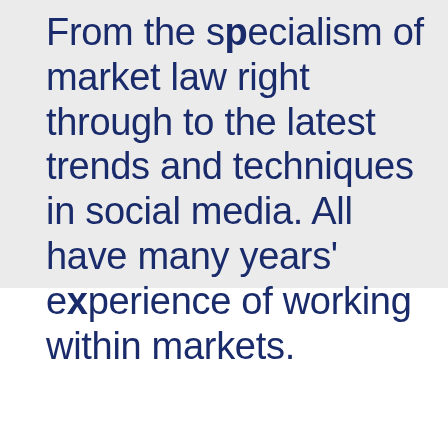From the specialism of market law right through to the latest trends and techniques in social media. All have many years' experience of working within markets.